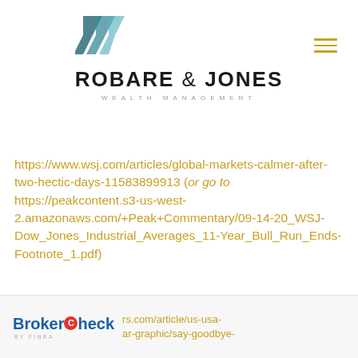[Figure (logo): Robare & Jones Wealth Management logo with chevron mark in teal/dark colors above company name]
https://www.wsj.com/articles/global-markets-calmer-after-two-hectic-days-11583899913 (or go to https://peakcontent.s3-us-west-2.amazonaws.com/+Peak+Commentary/09-14-20_WSJ-Dow_Jones_Industrial_Averages_11-Year_Bull_Run_Ends-Footnote_1.pdf)
https://www.bbc.com/r...
[Figure (logo): BrokerCheck by FINRA logo]
rs.com/article/us-usa-...ar-graphic/say-goodbye-